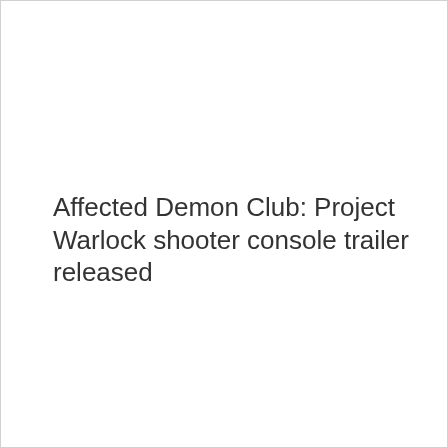Affected Demon Club: Project Warlock shooter console trailer released